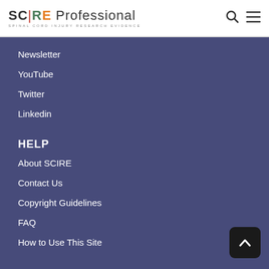SCIRE Professional — SPINAL CORD INJURY RESEARCH EVIDENCE
Newsletter
YouTube
Twitter
Linkedin
HELP
About SCIRE
Contact Us
Copyright Guidelines
FAQ
How to Use This Site